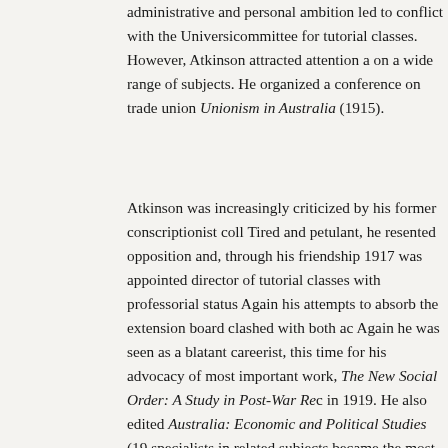administrative and personal ambition led to conflict with the University committee for tutorial classes. However, Atkinson attracted attention a on a wide range of subjects. He organized a conference on trade union Unionism in Australia (1915).
Atkinson was increasingly criticized by his former conscriptionist coll Tired and petulant, he resented opposition and, through his friendship 1917 was appointed director of tutorial classes with professorial status Again his attempts to absorb the extension board clashed with both ac Again he was seen as a blatant careerist, this time for his advocacy of most important work, The New Social Order: A Study in Post-War Re in 1919. He also edited Australia: Economic and Political Studies (19 specialists in related subjects became the most common genre for soci
After World War I Atkinson became a pacifist and internationalist. In purposes', went to England, and resigned from the university and the February he visited the Soviet Union as an honorary famine commissi backing from Herbert Brookes, he acquired a controlling interest in St Melbourne as editor. As a businessman Atkinson was incompetent, an finances quickly ran down. Before leaving for England he had floated Ltd, which failed; he and his co-directors were sued in the Supreme C misrepresentation, but were acquitted in 1924. He ventured into priv